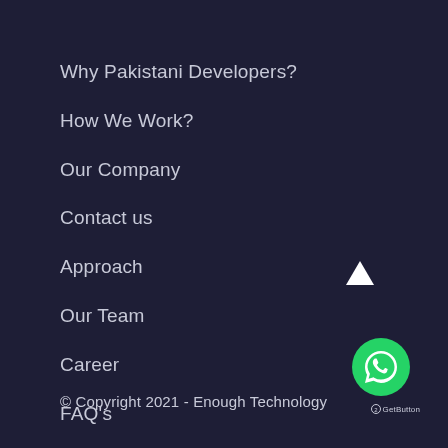Why Pakistani Developers?
How We Work?
Our Company
Contact us
Approach
Our Team
Career
FAQ's
[Figure (illustration): White upward arrow icon (scroll to top button) at bottom right]
[Figure (illustration): Green circular WhatsApp button with phone handset icon]
© Copyright 2021 - Enough Technology
GetButton